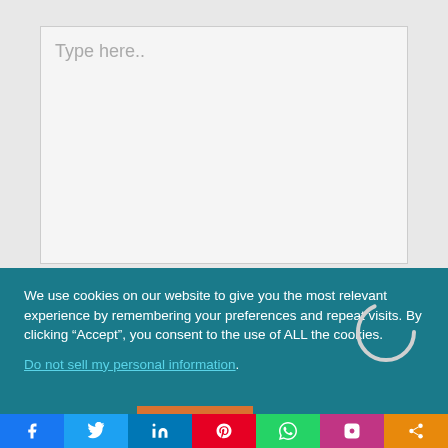Type here..
We use cookies on our website to give you the most relevant experience by remembering your preferences and repeat visits. By clicking “Accept”, you consent to the use of ALL the cookies.
Do not sell my personal information.
Cookie settings
ACCEPT